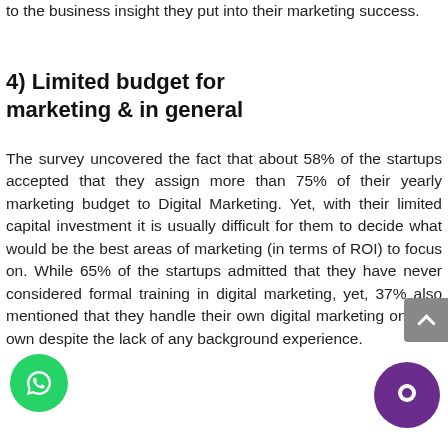to the business insight they put into their marketing success.
4) Limited budget for marketing & in general
The survey uncovered the fact that about 58% of the startups accepted that they assign more than 75% of their yearly marketing budget to Digital Marketing. Yet, with their limited capital investment it is usually difficult for them to decide what would be the best areas of marketing (in terms of ROI) to focus on. While 65% of the startups admitted that they have never considered formal training in digital marketing, yet, 37% also mentioned that they handle their own digital marketing on their own despite the lack of any background experience.